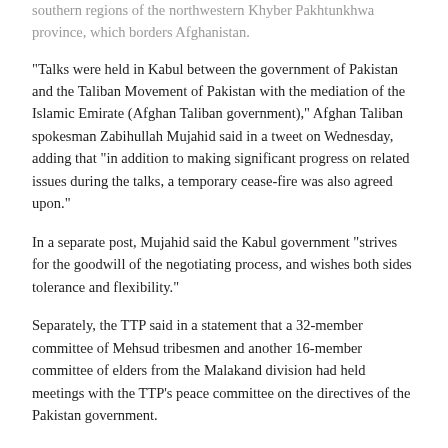southern regions of the northwestern Khyber Pakhtunkhwa province, which borders Afghanistan.
"Talks were held in Kabul between the government of Pakistan and the Taliban Movement of Pakistan with the mediation of the Islamic Emirate (Afghan Taliban government)," Afghan Taliban spokesman Zabihullah Mujahid said in a tweet on Wednesday, adding that “in addition to making significant progress on related issues during the talks, a temporary cease-fire was also agreed upon."
In a separate post, Mujahid said the Kabul government “strives for the goodwill of the negotiating process, and wishes both sides tolerance and flexibility."
Separately, the TTP said in a statement that a 32-member committee of Mehsud tribesmen and another 16-member committee of elders from the Malakand division had held meetings with the TTP’s peace committee on the directives of the Pakistan government.
"Facilitated by the Islamic Emirate of Afghanistan, talks are being held between the committees of the government of Pakistan and the Tehrik-e-Taliban," the statement read.